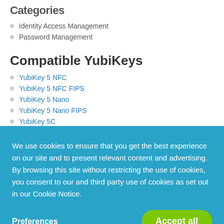Categories
Identity Access Management
Password Management
Compatible YubiKeys
YubiKey 5 NFC
YubiKey 5 NFC FIPS
YubiKey 5 Nano
YubiKey 5 Nano FIPS
YubiKey 5C
We use cookies to ensure that you get the best experience on our site and to present relevant content and advertising. By browsing this site without restricting the use of cookies, you consent to our and third party use of cookies as set out in our Cookie Notice.
Preferences
Accept all
YubiKey 4